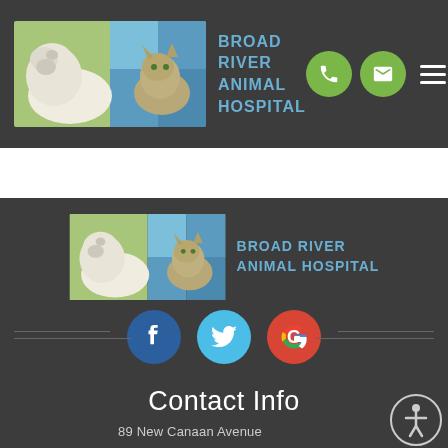BROAD RIVER ANIMAL HOSPITAL — header with phone, mail icons and hamburger menu
[Figure (logo): Broad River Animal Hospital logo: dog and cat with blue/green checkered squares in header]
[Figure (logo): Broad River Animal Hospital logo: dog and cat with blue/green checkered squares in footer section]
BROAD RIVER ANIMAL HOSPITAL
[Figure (infographic): Social media icons: Facebook (blue circle with f), Twitter (light blue circle with bird), Google (red circle with G)]
Contact Info
89 New Canaan Avenue
Norwalk, CT 06850
Phone: (203) 846-3495